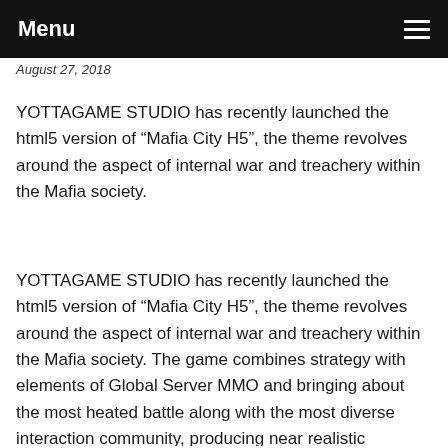Menu
August 27, 2018
YOTTAGAME STUDIO has recently launched the html5 version of “Mafia City H5”, the theme revolves around the aspect of internal war and treachery within the Mafia society.
YOTTAGAME STUDIO has recently launched the html5 version of “Mafia City H5”, the theme revolves around the aspect of internal war and treachery within the Mafia society. The game combines strategy with elements of Global Server MMO and bringing about the most heated battle along with the most diverse interaction community, producing near realistic